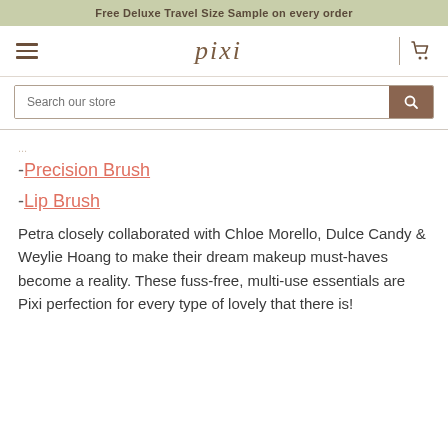Free Deluxe Travel Size Sample on every order
[Figure (logo): Pixi brand logo with hamburger menu and cart icon]
-Precision Brush
-Lip Brush
Petra closely collaborated with Chloe Morello, Dulce Candy & Weylie Hoang to make their dream makeup must-haves become a reality. These fuss-free, multi-use essentials are Pixi perfection for every type of lovely that there is!